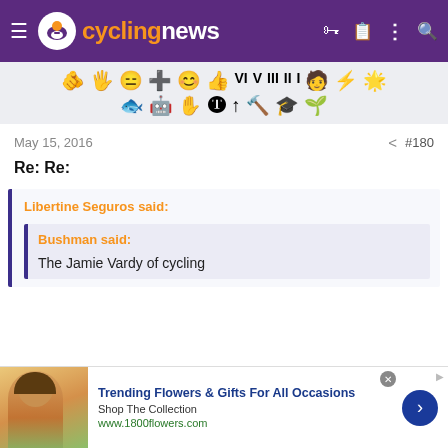cyclingnews
[Figure (other): Toolbar row of emoji/badge icons for forum reactions]
May 15, 2016   < #180
Re: Re:
Libertine Seguros said:
Bushman said:
The Jamie Vardy of cycling
[Figure (other): Advertisement banner: Trending Flowers & Gifts For All Occasions, Shop The Collection, www.1800flowers.com]